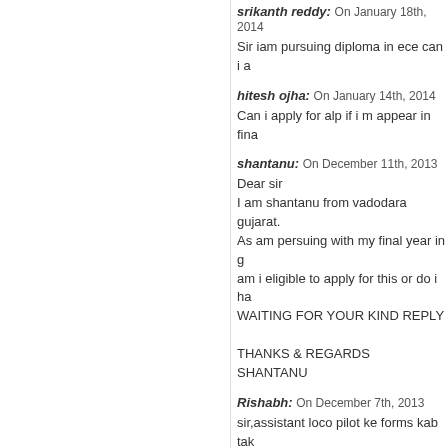srikanth reddy: On January 18th, 2014
Sir iam pursuing diploma in ece can i a
hitesh ojha: On January 14th, 2014
Can i apply for alp if i m appear in fina
shantanu: On December 11th, 2013
Dear sir
I am shantanu from vadodara gujarat.
As am persuing with my final year in g
am i eligible to apply for this or do i ha
WAITING FOR YOUR KIND REPLY

THANKS & REGARDS
SHANTANU
Rishabh: On December 7th, 2013
sir,assistant loco pilot ke forms kab tak
SURAJ KUMAR MAITI: On December
i passed diploma in electrical engineer
alp?
happy: On October 7th, 2013
Sir,
I have compleated my b.com nd i have
plz tell me what is my future scope for
Thank u......